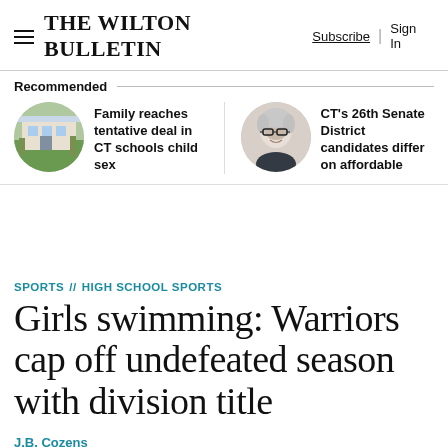The Wilton Bulletin  Subscribe  Sign In
Recommended
Family reaches tentative deal in CT schools child sex
CT's 26th Senate District candidates differ on affordable
SPORTS // HIGH SCHOOL SPORTS
Girls swimming: Warriors cap off undefeated season with division title
J.B. Cozens